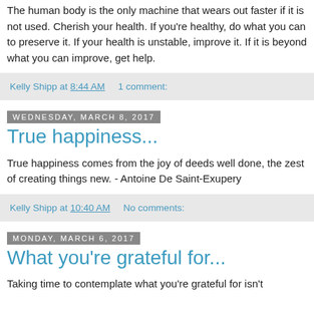The human body is the only machine that wears out faster if it is not used. Cherish your health. If you're healthy, do what you can to preserve it. If your health is unstable, improve it. If it is beyond what you can improve, get help.
Kelly Shipp at 8:44 AM    1 comment:
Wednesday, March 8, 2017
True happiness...
True happiness comes from the joy of deeds well done, the zest of creating things new. - Antoine De Saint-Exupery
Kelly Shipp at 10:40 AM    No comments:
Monday, March 6, 2017
What you're grateful for...
Taking time to contemplate what you're grateful for isn't